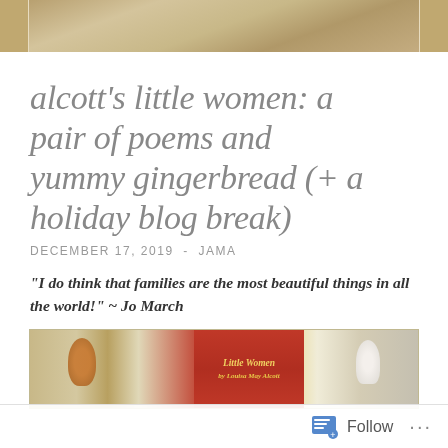[Figure (photo): Top portion of an illustration showing a historical/vintage scene with figures, browns and tans color palette, partially cropped]
alcott's little women: a pair of poems and yummy gingerbread (+ a holiday blog break)
DECEMBER 17, 2019  -  JAMA
“I do think that families are the most beautiful things in all the world!” ~ Jo March
[Figure (photo): Photo showing a gingerbread man cookie figure, a copy of Little Women book with red spine and gold title text, and a white figure/ornament, on a wooden surface near a window]
Follow  ...